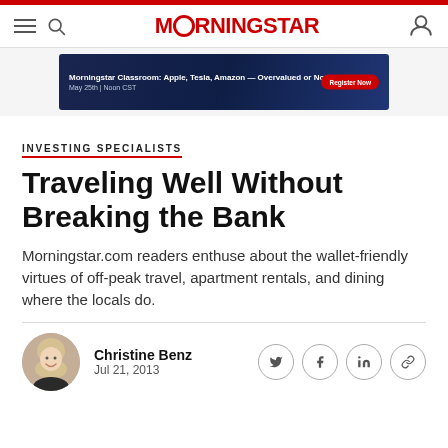MORNINGSTAR
[Figure (screenshot): Morningstar Classroom advertisement banner: Apple, Tesla, Amazon – Overvalued or Not? May 25th | Noon CST. Register Now button.]
INVESTING SPECIALISTS
Traveling Well Without Breaking the Bank
Morningstar.com readers enthuse about the wallet-friendly virtues of off-peak travel, apartment rentals, and dining where the locals do.
Christine Benz
Jul 21, 2013